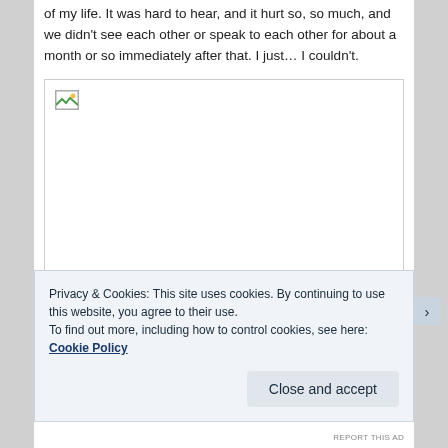of my life. It was hard to hear, and it hurt so, so much, and we didn't see each other or speak to each other for about a month or so immediately after that. I just… I couldn't.
[Figure (photo): A broken/missing image placeholder shown as an empty white box with a small broken image icon in the top-left corner.]
Privacy & Cookies: This site uses cookies. By continuing to use this website, you agree to their use.
To find out more, including how to control cookies, see here: Cookie Policy
Close and accept